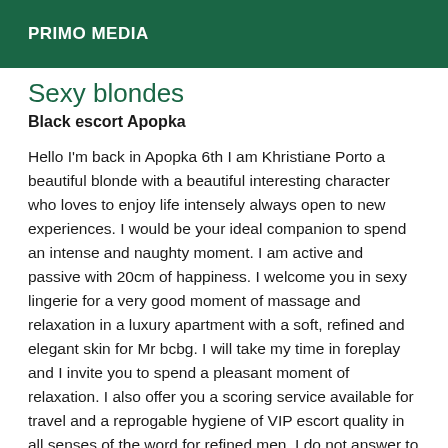PRIMO MEDIA
Sexy blondes
Black escort Apopka
Hello I'm back in Apopka 6th I am Khristiane Porto a beautiful blonde with a beautiful interesting character who loves to enjoy life intensely always open to new experiences. I would be your ideal companion to spend an intense and naughty moment. I am active and passive with 20cm of happiness. I welcome you in sexy lingerie for a very good moment of massage and relaxation in a luxury apartment with a soft, refined and elegant skin for Mr bcbg. I will take my time in foreplay and I invite you to spend a pleasant moment of relaxation. I also offer you a scoring service available for travel and a reprogable hygiene of VIP escort quality in all senses of the word for refined men. I do not answer to sms, mails and masked calls. For more information please contact me. iDiscreet, quiet and clean apartment